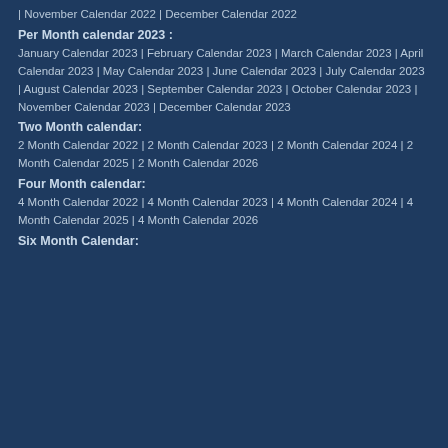| November Calendar 2022  |  December Calendar 2022
Per Month calendar 2023 :
January Calendar 2023   |  February Calendar 2023   |  March Calendar 2023   |  April Calendar 2023   |  May Calendar 2023  |  June Calendar 2023   |  July Calendar 2023   |  August Calendar 2023   |  September Calendar 2023   |  October Calendar 2023  |  November Calendar 2023   |  December Calendar 2023
Two Month calendar:
2 Month Calendar 2022   |  2 Month Calendar 2023  |  2 Month Calendar 2024   |  2 Month Calendar 2025   |  2 Month Calendar 2026
Four Month calendar:
4 Month Calendar 2022   |  4 Month Calendar 2023  |  4 Month Calendar 2024   |  4 Month Calendar 2025   |  4 Month Calendar 2026
Six Month Calendar: